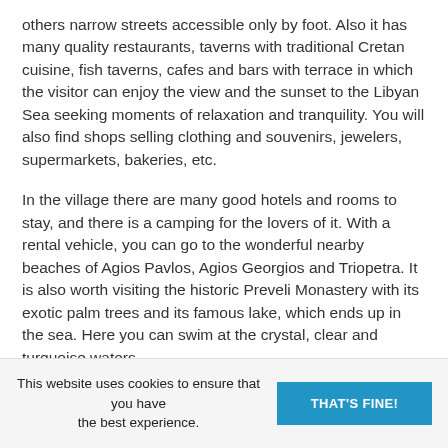others narrow streets accessible only by foot. Also it has many quality restaurants, taverns with traditional Cretan cuisine, fish taverns, cafes and bars with terrace in which the visitor can enjoy the view and the sunset to the Libyan Sea seeking moments of relaxation and tranquility. You will also find shops selling clothing and souvenirs, jewelers, supermarkets, bakeries, etc.
In the village there are many good hotels and rooms to stay, and there is a camping for the lovers of it. With a rental vehicle, you can go to the wonderful nearby beaches of Agios Pavlos, Agios Georgios and Triopetra. It is also worth visiting the historic Preveli Monastery with its exotic palm trees and its famous lake, which ends up in the sea. Here you can swim at the crystal, clear and turquoise waters.
From Agia Galini, hiring a car, you can make many excursions either to archaeological sites like Festos, Agia
This website uses cookies to ensure that you have the best experience. THAT'S FINE!